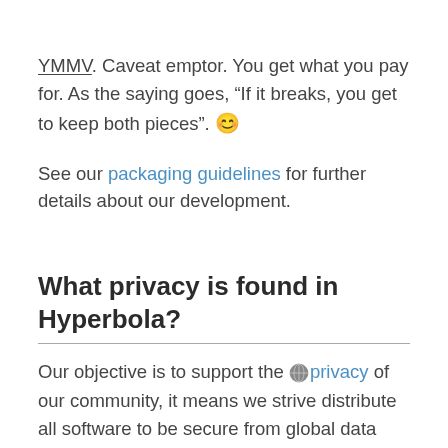YMMV. Caveat emptor. You get what you pay for. As the saying goes, “If it breaks, you get to keep both pieces”. 🙂
See our packaging guidelines for further details about our development.
What privacy is found in Hyperbola?
Our objective is to support the 🌐 privacy of our community, it means we strive distribute all software to be secure from global data surveillance revealed in the publication of 🌐 Snowden’s NSA documents. We offer